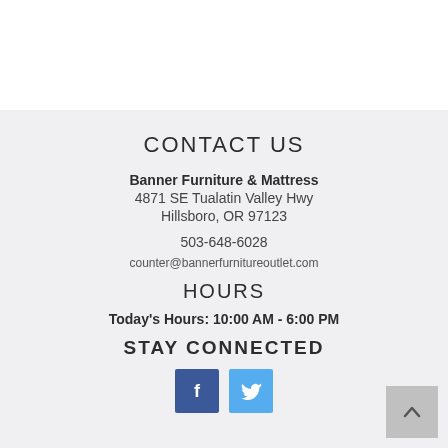CONTACT US
Banner Furniture & Mattress
4871 SE Tualatin Valley Hwy
Hillsboro, OR 97123
503-648-6028
counter@bannerfurnitureoutlet.com
HOURS
Today's Hours: 10:00 AM - 6:00 PM
STAY CONNECTED
[Figure (illustration): Facebook and Twitter social media icon buttons]